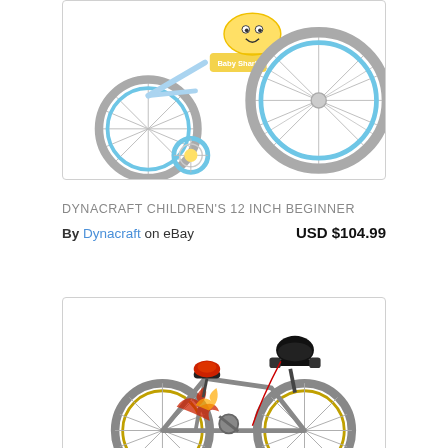[Figure (photo): Children's beginner bicycle with training wheels, blue and yellow theme, visible front wheel with blue rim — partial top product image]
DYNACRAFT CHILDREN'S 12 INCH BEGINNER
By Dynacraft on eBay   USD $104.99
[Figure (photo): Children's bicycle with colorful flame/dragon graphics, black seat, black handlebars, red accents — partial bottom product image]